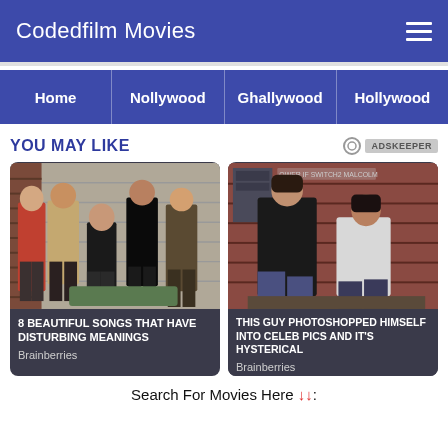Codedfilm Movies
Home
Nollywood
Ghallywood
Hollywood
YOU MAY LIKE
[Figure (photo): Group of five musicians posing casually in what appears to be a garage or studio setting]
8 BEAUTIFUL SONGS THAT HAVE DISTURBING MEANINGS
Brainberries
[Figure (photo): Two men sitting together leaning on each other against a brick wall background]
THIS GUY PHOTOSHOPPED HIMSELF INTO CELEB PICS AND IT'S HYSTERICAL
Brainberries
Search For Movies Here ↓↓: